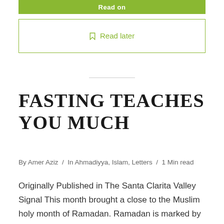Read on
🔖 Read later
FASTING TEACHES YOU MUCH
By Amer Aziz / In Ahmadiyya, Islam, Letters / 1 Min read
Originally Published in The Santa Clarita Valley Signal This month brought a close to the Muslim holy month of Ramadan. Ramadan is marked by 30 days of fasting for Muslims from dawn to dusk and culminates with a day of celebration and festivity known as Eid-ul-Fitr. However, the Quran